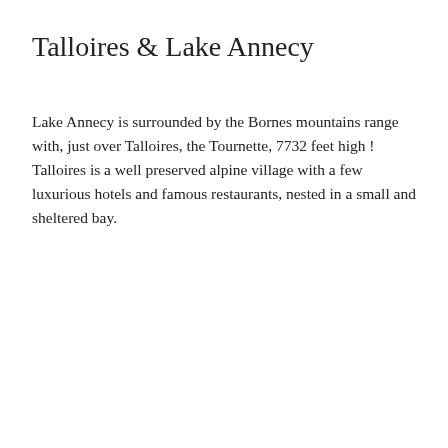Talloires & Lake Annecy
Lake Annecy is surrounded by the Bornes mountains range with, just over Talloires, the Tournette, 7732 feet high ! Talloires is a well preserved alpine village with a few luxurious hotels and famous restaurants, nested in a small and sheltered bay.